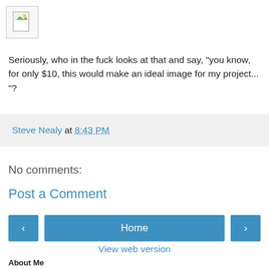[Figure (illustration): Broken image placeholder icon with document and leaf/image symbol]
Seriously, who in the fuck looks at that and say, "you know, for only $10, this would make an ideal image for my project... "?
Steve Nealy at 8:43 PM
No comments:
Post a Comment
‹  Home  ›
View web version
About Me
Steve Nealy